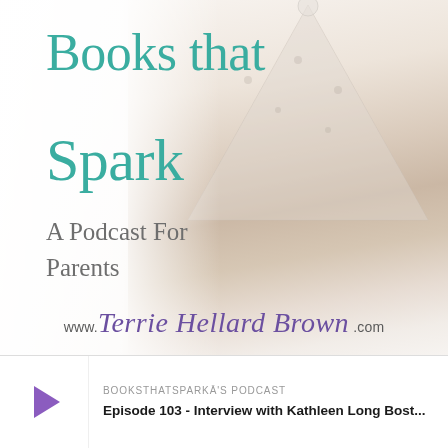[Figure (illustration): Podcast cover art showing a mother and two young children reading a book together, seated in front of a star-patterned teepee/tent on a light background. Text overlay includes 'Books that Spark', 'A Podcast For Parents', and 'www.TerrieHellardBrown.com'. The image has a soft, warm, pastel aesthetic.]
BOOKSTHATSPARKĀ'S PODCAST
Episode 103 - Interview with Kathleen Long Bost...